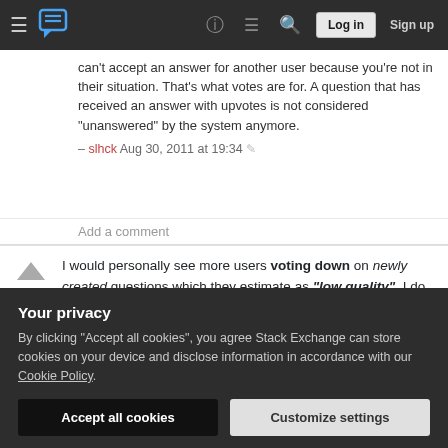Stack Exchange navigation bar with Log in and Sign up buttons
can't accept an answer for another user because you're not in their situation. That's what votes are for. A question that has received an answer with upvotes is not considered "unanswered" by the system anymore. – slhck Aug 30, 2011 at 19:34
Add a comment
I would personally see more users voting down on newly created questions which they estimate as "low quality". I do that frequently and in my opinion. If more people did that it would make this site much better. (Less "low quality questions" being
Your privacy
By clicking "Accept all cookies", you agree Stack Exchange can store cookies on your device and disclose information in accordance with our Cookie Policy.
Accept all cookies   Customize settings